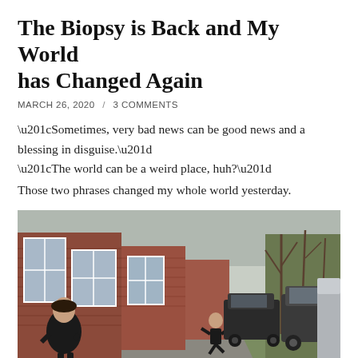The Biopsy is Back and My World has Changed Again
MARCH 26, 2020  /  3 COMMENTS
“Sometimes, very bad news can be good news and a blessing in disguise.” “The world can be a weird place, huh?” Those two phrases changed my whole world yesterday.
[Figure (photo): Outdoor photo showing a brick building with large windows on the left, a person standing near the building in a black outfit, another person in the background near parked SUVs on a driveway, with bare trees visible in the background.]